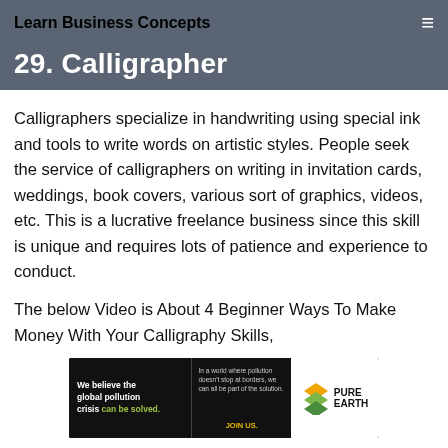Learn Business Concepts
29. Calligrapher
Calligraphers specialize in handwriting using special ink and tools to write words on artistic styles. People seek the service of calligraphers on writing in invitation cards, weddings, book covers, various sort of graphics, videos, etc. This is a lucrative freelance business since this skill is unique and requires lots of patience and experience to conduct.
The below Video is About 4 Beginner Ways To Make Money With Your Calligraphy Skills,
[Figure (illustration): Advertisement banner for Pure Earth: 'We believe the global pollution crisis can be solved. In a world where pollution doesn't stop at borders, we can all be part of the solution. JOIN US.' with Pure Earth logo on right.]